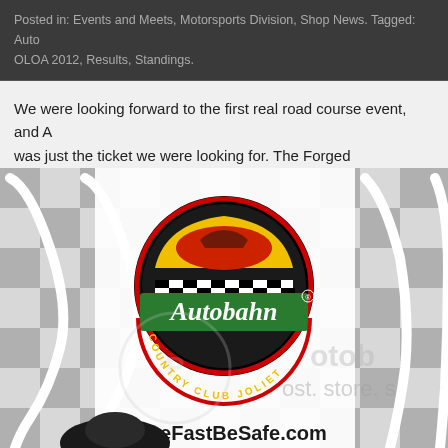Posted in: Events and Meets, Motorsports Division, Shop News. Tagged: Auto OLOA 2012, Results, Standings.
We were looking forward to the first real road course event, and A was just the ticket we were looking for. The Forged Performance R perform flawlessly.
[Figure (photo): Autobahn Country Club Joliet promotional banner/logo image with checkered flag background, race track outline, and DriveFastBeSafe.com text at bottom]